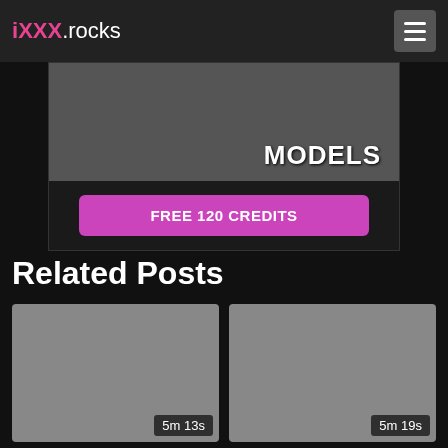iXXX.rocks
[Figure (photo): Advertisement banner showing SEXY MODELS text with a FREE 120 CREDITS button]
Related Posts
[Figure (photo): Video thumbnail placeholder, grey, duration 5m 13s]
[Figure (photo): Video thumbnail placeholder, grey, duration 5m 19s]